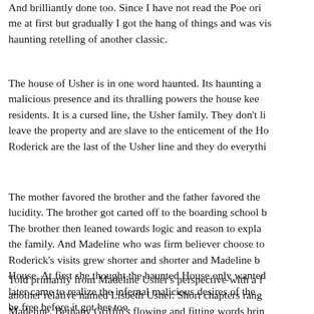And brilliantly done too. Since I have not read the Poe ori me at first but gradually I got the hang of things and was vis haunting retelling of another classic.
The house of Usher is in one word haunted. Its haunting a malicious presence and its thralling powers the house kee residents. It is a cursed line, the Usher family. They don't li leave the property and are slave to the enticement of the Ho Roderick are the last of the Usher line and they do everythi
The mother favored the brother and the father favored the lucidity. The brother got carted off to the boarding school b The brother then leaned towards logic and reason to expla the family. And Madeline who was firm believer choose to Roderick's visits grew shorter and shorter and Madeline b House. At first she thought the haunted House only wanted later came to realize the infernal malicious desires of the be free before it got her too.
Told primarily from Madeline Usher's perspective with a f another relative named Lisbeth Usher. Short chapters rang Madeline. Bethany Griffin's flowing and fitting words brin existence. This is Madeline's struggle to freedom, to keep searches for ways to defeat the House, to escape the Docto and prod and draw blood. The Fall chroniclises not jus